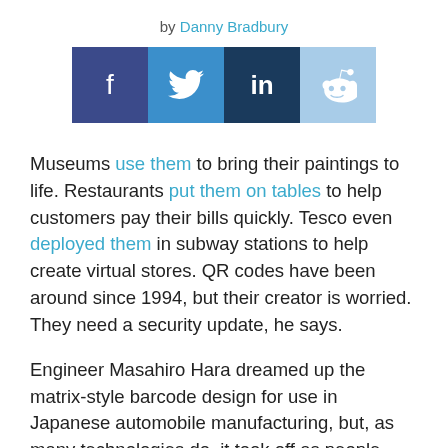by Danny Bradbury
[Figure (infographic): Social share buttons for Facebook, Twitter, LinkedIn, and Reddit]
Museums use them to bring their paintings to life. Restaurants put them on tables to help customers pay their bills quickly. Tesco even deployed them in subway stations to help create virtual stores. QR codes have been around since 1994, but their creator is worried. They need a security update, he says.
Engineer Masahiro Hara dreamed up the matrix-style barcode design for use in Japanese automobile manufacturing, but, as many technologies do, it took off as people began using it in ways he hadn't